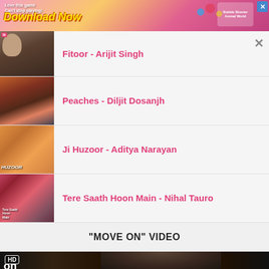[Figure (screenshot): Mobile game advertisement banner with colorful gradient background, 'Love this game Can't stop playing!' text, 'Download Now' in large yellow italic text, bubble shooter game icon on right, blue X close button]
Fitoor - Arijit Singh
Peaches - Diljit Dosanjh
Ji Huzoor - Aditya Narayan
Tere Saath Hoon Main - Nihal Tauro
"MOVE ON" VIDEO
[Figure (screenshot): HD video thumbnail showing a dark scene with a person with curly hair, HD badge in top left corner, partial text 'on' visible at bottom left]